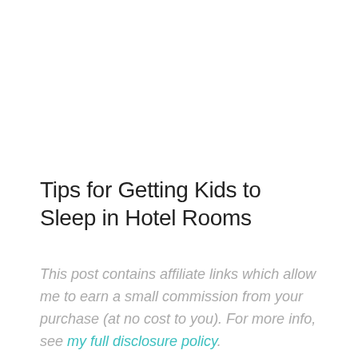Tips for Getting Kids to Sleep in Hotel Rooms
This post contains affiliate links which allow me to earn a small commission from your purchase (at no cost to you). For more info, see my full disclosure policy.